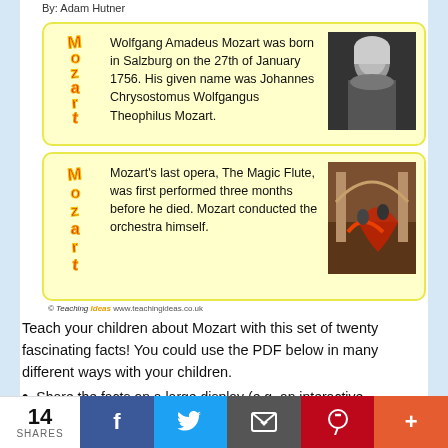By: Adam Hutner
[Figure (infographic): Mozart fact card 1: decorative 'Mozart' vertical text logo in orange/red, text about Mozart's birth, black and white portrait photo of Mozart]
[Figure (infographic): Mozart fact card 2: decorative 'Mozart' vertical text logo in orange/red, text about Mozart's last opera The Magic Flute, colorful historical illustration of opera scene]
© Teaching Ideas www.teachingideas.co.uk
Teach your children about Mozart with this set of twenty fascinating facts! You could use the PDF below in many different ways with your children.
Share the facts on a large display (e.g. an interactive whiteboard) and use it for whole class teaching.
14 SHARES | Facebook | Twitter | Email | Pinterest | More